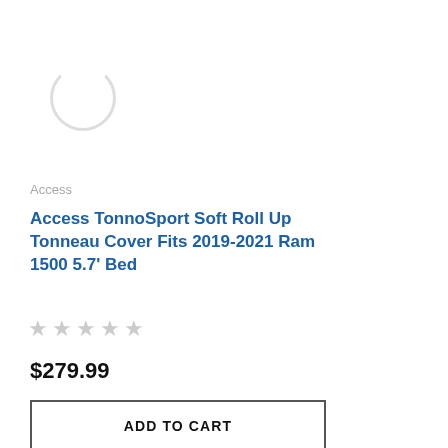[Figure (illustration): Loading spinner / circular arc indicating image is loading]
Access
Access TonnoSport Soft Roll Up Tonneau Cover Fits 2019-2021 Ram 1500 5.7' Bed
★★★★★ (empty stars rating)
$279.99
ADD TO CART